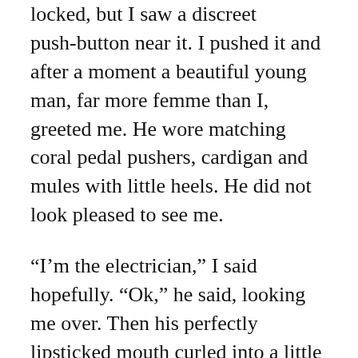locked, but I saw a discreet push-button near it. I pushed it and after a moment a beautiful young man, far more femme than I, greeted me. He wore matching coral pedal pushers, cardigan and mules with little heels. He did not look pleased to see me.
“I’m the electrician,” I said hopefully. “Ok,” he said, looking me over. Then his perfectly lipsticked mouth curled into a little smile. “Come with me. We’ve been waiting for you.”
A small town girl who’d only lived in San Francisco for a year or so, I had just barely come out as a lesbian and had little experience with drag queens, transsexuals or